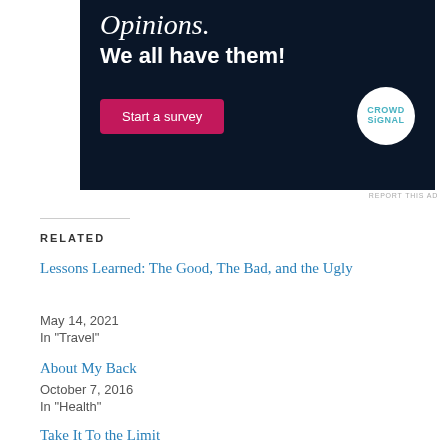[Figure (other): Advertisement banner with dark navy background showing 'Opinions. We all have them!' text, a pink 'Start a survey' button, and CrowdSignal logo circle]
REPORT THIS AD
RELATED
Lessons Learned: The Good, The Bad, and the Ugly
May 14, 2021
In "Travel"
About My Back
October 7, 2016
In "Health"
Take It To the Limit